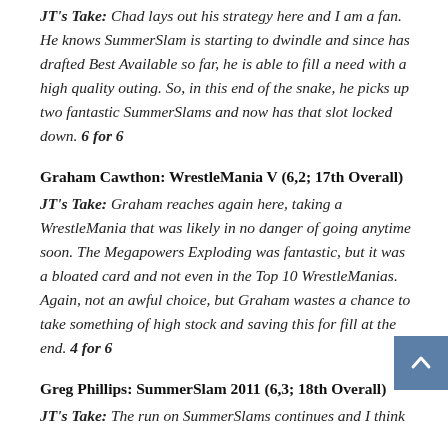JT's Take: Chad lays out his strategy here and I am a fan. He knows SummerSlam is starting to dwindle and since has drafted Best Available so far, he is able to fill a need with a high quality outing. So, in this end of the snake, he picks up two fantastic SummerSlams and now has that slot locked down. 6 for 6
Graham Cawthon: WrestleMania V (6,2; 17th Overall)
JT's Take: Graham reaches again here, taking a WrestleMania that was likely in no danger of going anytime soon. The Megapowers Exploding was fantastic, but it was a bloated card and not even in the Top 10 WrestleManias. Again, not an awful choice, but Graham wastes a chance to take something of high stock and saving this for fill at the end. 4 for 6
Greg Phillips: SummerSlam 2011 (6,3; 18th Overall)
JT's Take: The run on SummerSlams continues and I think